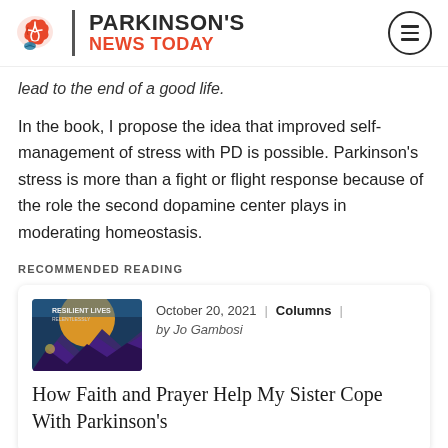PARKINSON'S NEWS TODAY
lead to the end of a good life.
In the book, I propose the idea that improved self-management of stress with PD is possible. Parkinson's stress is more than a fight or flight response because of the role the second dopamine center plays in moderating homeostasis.
RECOMMENDED READING
[Figure (illustration): Thumbnail image for article about faith and prayer helping cope with Parkinson's, showing mountains and sky scene]
October 20, 2021 | Columns | by Jo Gambosi
How Faith and Prayer Help My Sister Cope With Parkinson's